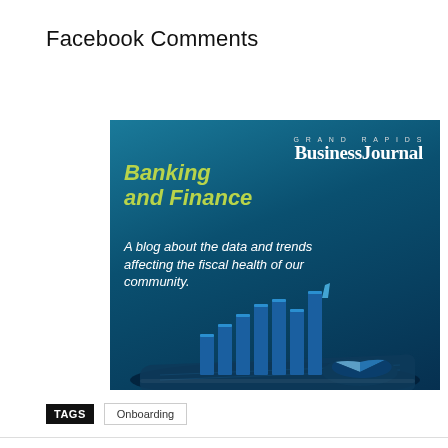Facebook Comments
[Figure (illustration): Grand Rapids Business Journal Banking and Finance blog banner. Teal/blue gradient background with text 'GRAND RAPIDS BusinessJournal', 'Banking and Finance' in yellow-green bold italic, 'A blog about the data and trends affecting the fiscal health of our community.' in white italic, and a 3D bar chart with pie chart on a tablet in the lower portion.]
TAGS   Onboarding